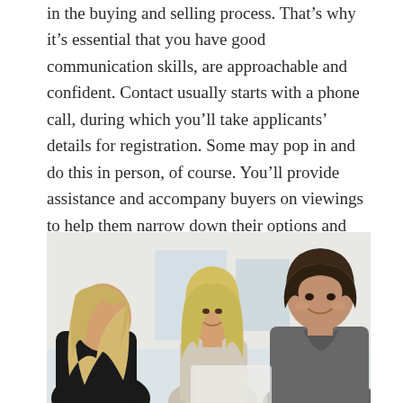in the buying and selling process. That's why it's essential that you have good communication skills, are approachable and confident. Contact usually starts with a phone call, during which you'll take applicants' details for registration. Some may pop in and do this in person, of course. You'll provide assistance and accompany buyers on viewings to help them narrow down their options and settle on a property to purchase. From that point onwards, you'll be on hand for advice, so it's important that you are familiar with the property and location yourself. This is where the fun really starts!
[Figure (photo): Three people (two women and a man) looking down at something together, smiling. The person on the left has long blonde hair, the person in the center has lighter blonde hair, and the man on the right has dark short hair and is wearing a grey polo shirt. They appear to be in a bright office or studio setting.]